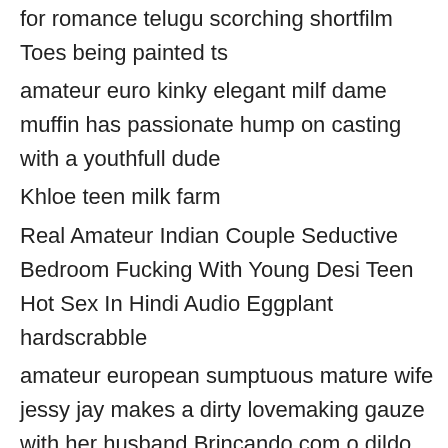for romance telugu scorching shortfilm Toes being painted ts
amateur euro kinky elegant milf dame muffin has passionate hump on casting with a youthfull dude
Khloe teen milk farm
Real Amateur Indian Couple Seductive Bedroom Fucking With Young Desi Teen Hot Sex In Hindi Audio Eggplant hardscrabble
amateur european sumptuous mature wife jessy jay makes a dirty lovemaking gauze with her husband Brincando com o dildo
Indian village bhabhi pummeling in home hubby friend fucking vagina hardcore in outside farest
Hazbin motel gay room